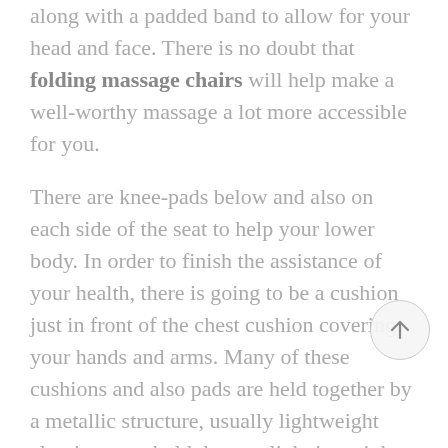along with a padded band to allow for your head and face. There is no doubt that folding massage chairs will help make a well-worthy massage a lot more accessible for you.
There are knee-pads below and also on each side of the seat to help your lower body. In order to finish the assistance of your health, there is going to be a cushion just in front of the chest cushion covering your hands and arms. Many of these cushions and also pads are held together by a metallic structure, usually lightweight aluminum, to hold the seat light in weight.
Nearly all portable massage chairs are very adjustable, and so the massage therapist is able to adjust it for maximizing…